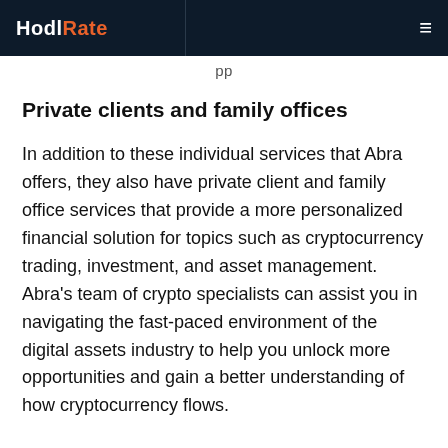HodlRate
pp
Private clients and family offices
In addition to these individual services that Abra offers, they also have private client and family office services that provide a more personalized financial solution for topics such as cryptocurrency trading, investment, and asset management. Abra’s team of crypto specialists can assist you in navigating the fast-paced environment of the digital assets industry to help you unlock more opportunities and gain a better understanding of how cryptocurrency flows.